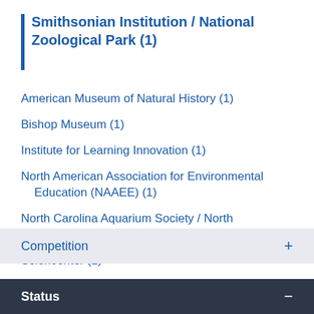Smithsonian Institution / National Zoological Park (1)
American Museum of Natural History (1)
Bishop Museum (1)
Institute for Learning Innovation (1)
North American Association for Environmental Education (NAAEE) (1)
North Carolina Aquarium Society / North Carolina Aquarium on Roanoke Island (1)
Sciencenter (1)
Whitaker Center for Science and the Arts (1)
Competition +
Status −